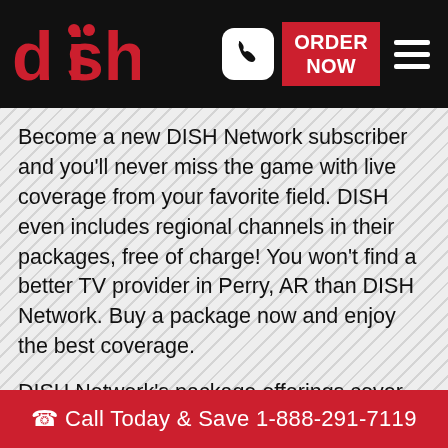DISH Network - ORDER NOW
Become a new DISH Network subscriber and you'll never miss the game with live coverage from your favorite field. DISH even includes regional channels in their packages, free of charge! You won't find a better TV provider in Perry, AR than DISH Network. Buy a package now and enjoy the best coverage.
DISH Network's package offerings cover all of your sports needs! You'll have access to all your favorite arkansas teams with season passes. You won't have to pay for channels you don't want with the option to enhance any DISH package with supplemental sports packs. If you live in Perry, order DISH Network today
Call Today & Save 1-888-291-7119